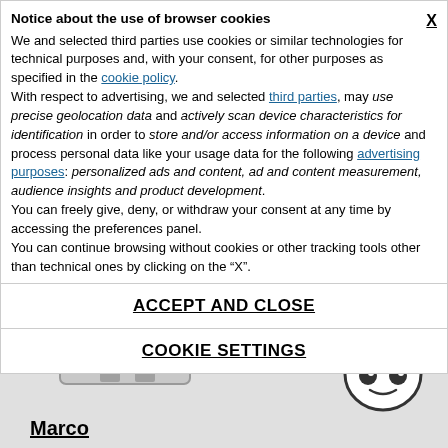Notice about the use of browser cookies
We and selected third parties use cookies or similar technologies for technical purposes and, with your consent, for other purposes as specified in the cookie policy.
With respect to advertising, we and selected third parties, may use precise geolocation data and actively scan device characteristics for identification in order to store and/or access information on a device and process personal data like your usage data for the following advertising purposes: personalized ads and content, ad and content measurement, audience insights and product development.
You can freely give, deny, or withdraw your consent at any time by accessing the preferences panel.
You can continue browsing without cookies or other tracking tools other than technical ones by clicking on the “X”.
ACCEPT AND CLOSE
COOKIE SETTINGS
Marco